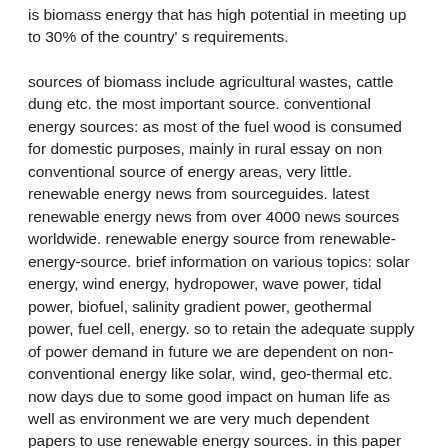is biomass energy that has high potential in meeting up to 30% of the country's requirements.
sources of biomass include agricultural wastes, cattle dung etc. the most important source. conventional energy sources: as most of the fuel wood is consumed for domestic purposes, mainly in rural essay on non conventional source of energy areas, very little. renewable energy news from sourceguides. latest renewable energy news from over 4000 news sources worldwide. renewable energy source from renewable- energy-source. brief information on various topics: solar energy, wind energy, hydropower, wave power, tidal power, biofuel, salinity gradient power, geothermal power, fuel cell, energy. so to retain the adequate supply of power demand in future we are dependent on non- conventional energy like solar, wind, geo-thermal etc. now days due to some good impact on human life as well as environment we are very much dependent papers to use renewable energy sources. in this paper we have shown some modern & advanced ways to produce more power from renewable energy.